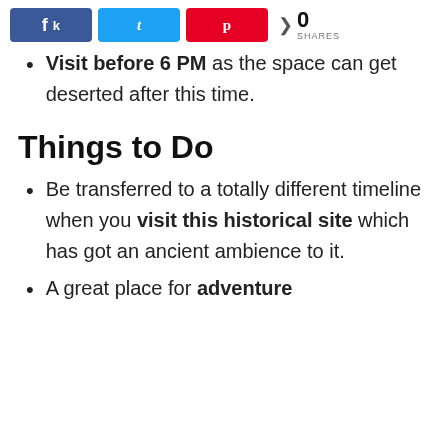[Figure (screenshot): Social share bar with Facebook (blue), Twitter (light blue), Pinterest (red) buttons, and a share count showing 0 SHARES]
Visit before 6 PM as the space can get deserted after this time.
Things to Do
Be transferred to a totally different timeline when you visit this historical site which has got an ancient ambience to it.
A great place for adventure